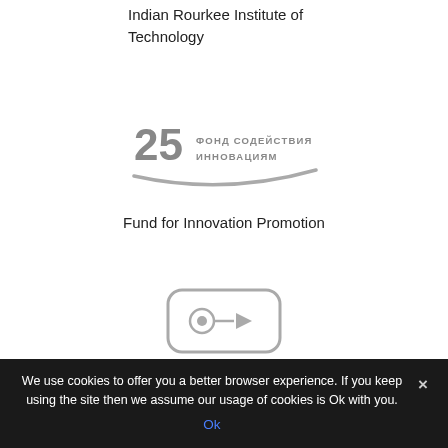Indian Rourkee Institute of Technology
[Figure (logo): 25 ФОНД СОДЕЙСТВИЯ ИННОВАЦИЯМ logo with a swoosh/arc below the text]
Fund for Innovation Promotion
[Figure (logo): Лекториум logo: rounded rectangle with cassette/play icon above Cyrillic text Лекториум]
We use cookies to offer you a better browser experience. If you keep using the site then we assume our usage of cookies is Ok with you.
Ok